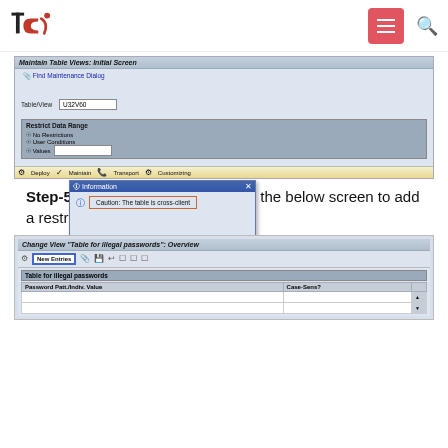Navigation bar with logo and menu
[Figure (screenshot): SAP Maintain Table Views: Initial Screen with Table/View field set to U32V60, Restrict Data Range section, toolbar with Deploy/Maintain/Transport/Customizing buttons, and an Information dialog showing 'Caution: The table is cross-client' with a checkmark button highlighted]
Step-5: Click on the new entries in the below screen to add a restriction.
[Figure (screenshot): SAP Change View 'Table for illegal passwords': Overview screen with New Entries button highlighted, showing a table header with Password Patt./Indiv. Value and Case-Sens? columns]